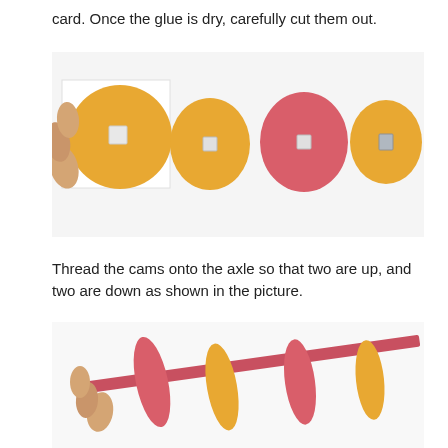card. Once the glue is dry, carefully cut them out.
[Figure (photo): Four paper cam discs laid out on a white surface. From left to right: a large orange disc held by hand against a white square card, a medium orange disc with a square hole in center, a medium red/pink disc with a square hole, and a medium orange disc with a small metal square piece through the center.]
Thread the cams onto the axle so that two are up, and two are down as shown in the picture.
[Figure (photo): A hand holding an axle (pink/red paper strip) with four oval paper cam discs threaded onto it alternating pink and orange, angled diagonally, showing two up and two down orientation.]